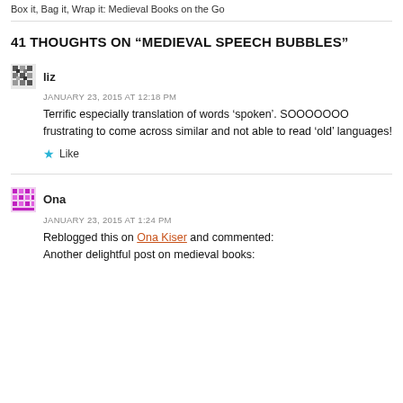Box it, Bag it, Wrap it: Medieval Books on the Go
41 THOUGHTS ON “MEDIEVAL SPEECH BUBBLES”
liz
JANUARY 23, 2015 AT 12:18 PM
Terrific especially translation of words ‘spoken’. SOOOOOOO frustrating to come across similar and not able to read ‘old’ languages!
Like
Ona
JANUARY 23, 2015 AT 1:24 PM
Reblogged this on Ona Kiser and commented: Another delightful post on medieval books: